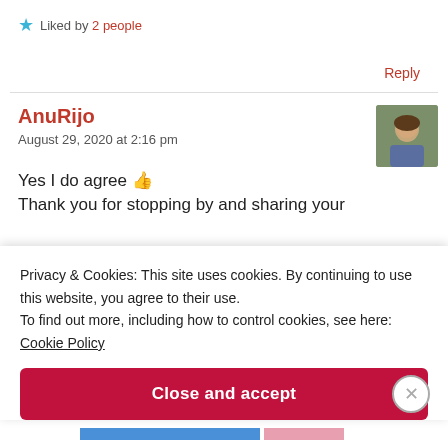★ Liked by 2 people
Reply
AnuRijo
August 29, 2020 at 2:16 pm
Yes I do agree 👍
Thank you for stopping by and sharing your
Privacy & Cookies: This site uses cookies. By continuing to use this website, you agree to their use.
To find out more, including how to control cookies, see here: Cookie Policy
Close and accept